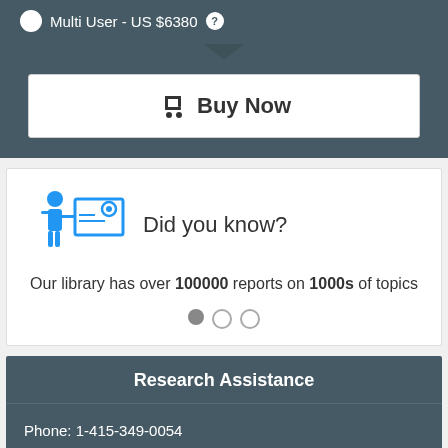Multi User - US $6380
Buy Now
Did you know?
Our library has over 100000 reports on 1000s of topics
Research Assistance
Phone: 1-415-349-0054
Toll Free: 1-888-928-9744